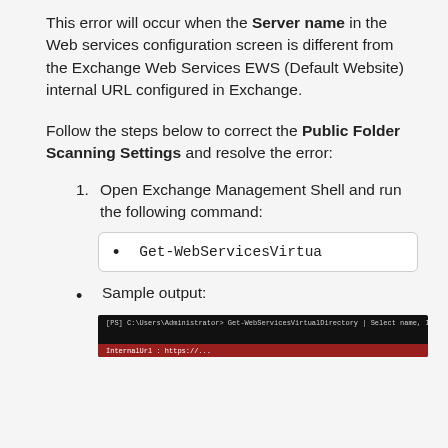This error will occur when the Server name in the Web services configuration screen is different from the Exchange Web Services EWS (Default Website) internal URL configured in Exchange.
Follow the steps below to correct the Public Folder Scanning Settings and resolve the error:
1. Open Exchange Management Shell and run the following command:
Get-WebServicesVirtua
Sample output:
[Figure (screenshot): Terminal/command prompt screenshot showing dark background with red highlighted bar at bottom, displaying command output text.]